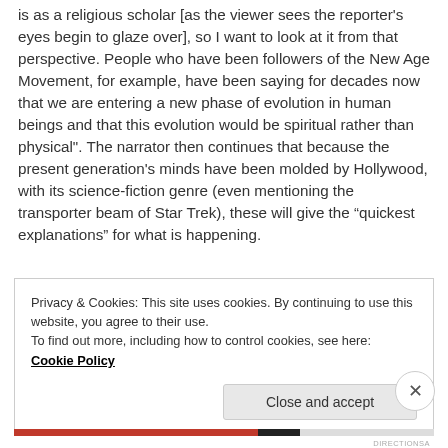is as a religious scholar [as the viewer sees the reporter's eyes begin to glaze over], so I want to look at it from that perspective. People who have been followers of the New Age Movement, for example, have been saying for decades now that we are entering a new phase of evolution in human beings and that this evolution would be spiritual rather than physical". The narrator then continues that because the present generation's minds have been molded by Hollywood, with its science-fiction genre (even mentioning the transporter beam of Star Trek), these will give the “quickest explanations” for what is happening.
Privacy & Cookies: This site uses cookies. By continuing to use this website, you agree to their use.
To find out more, including how to control cookies, see here: Cookie Policy